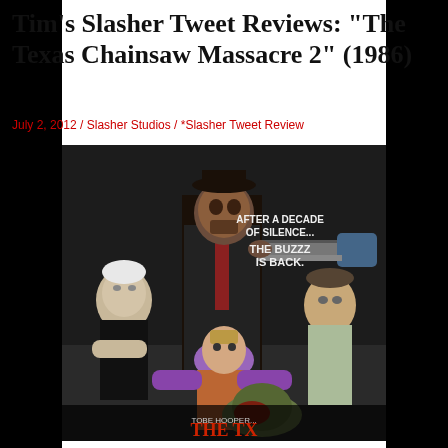Tim’s Slasher Tweet Reviews: “The Texas Chainsaw Massacre 2” (1986)
July 2, 2012 / Slasher Studios / *Slasher Tweet Review
[Figure (photo): Movie poster for The Texas Chainsaw Massacre 2 (1986). Shows cast of characters including Leatherface holding a chainsaw, an elderly man, a person with purple/colorful clothing, and another figure. Text on poster reads: AFTER A DECADE OF SILENCE... THE BUZZZ IS BACK. Director listed as TOBE HOOPER.]